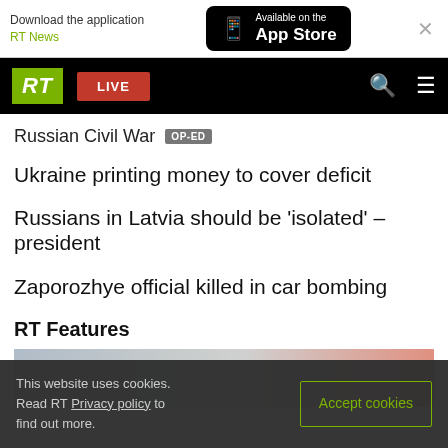Download the application RT News | Available on the App Store
[Figure (screenshot): RT News navigation bar with green RT logo, red LIVE button, search and menu icons on black background]
Russian Civil War OP-ED
Ukraine printing money to cover deficit
Russians in Latvia should be 'isolated' – president
Zaporozhye official killed in car bombing
RT Features
[Figure (photo): Partial photo showing blurred face on grey/red background]
This website uses cookies. Read RT Privacy policy to find out more.